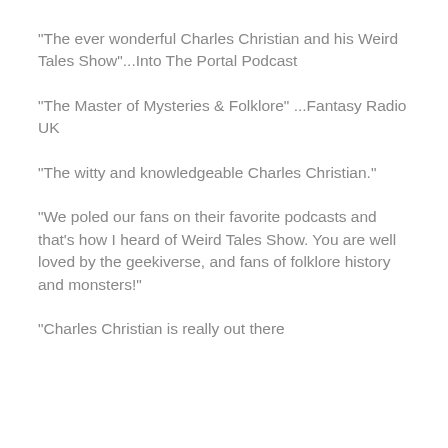"The ever wonderful Charles Christian and his Weird Tales Show"...Into The Portal Podcast
"The Master of Mysteries & Folklore" ...Fantasy Radio UK
"The witty and knowledgeable Charles Christian."
"We poled our fans on their favorite podcasts and that's how I heard of Weird Tales Show. You are well loved by the geekiverse, and fans of folklore history and monsters!"
"Charles Christian is really out there